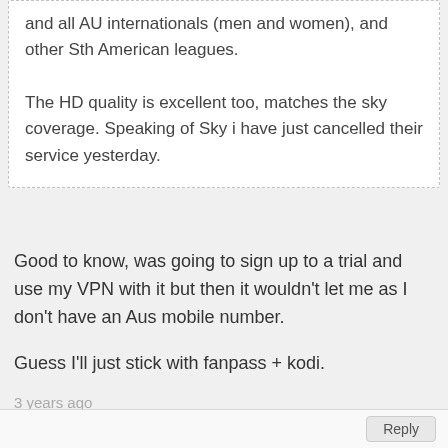and all AU internationals (men and women), and other Sth American leagues.

The HD quality is excellent too, matches the sky coverage. Speaking of Sky i have just cancelled their service yesterday.
Good to know, was going to sign up to a trial and use my VPN with it but then it wouldn't let me as I don't have an Aus mobile number.
Guess I'll just stick with fanpass + kodi.
3 years ago